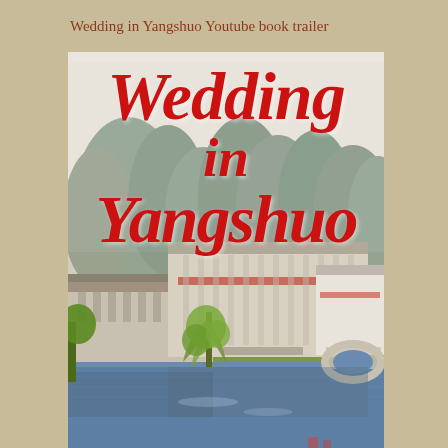Wedding in Yangshuo Youtube book trailer
[Figure (illustration): Book cover for 'Wedding in Yangshuo' showing a scene of Yangshuo, China with karst limestone mountains in the background, traditional Chinese buildings along a river with reflections in the water, a stone arch bridge, and green weeping willow trees. The title 'Wedding in Yangshuo' is overlaid in large red italic script lettering.]